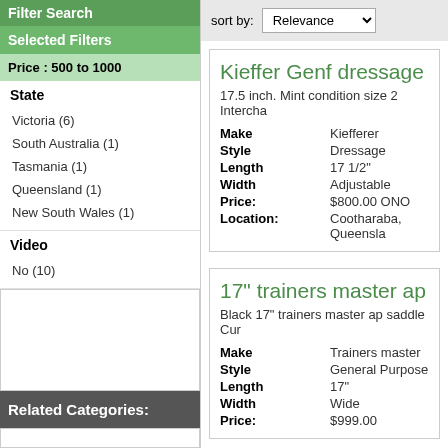Filter Search
Selected Filters
Price : 500 to 1000
State
Victoria (6)
South Australia (1)
Tasmania (1)
Queensland (1)
New South Wales (1)
Video
No (10)
Related Categories:
sort by: Relevance
Kieffer Genf dressage saddle
17.5 inch. Mint condition size 2 Intercha
| Field | Value |
| --- | --- |
| Make | Kiefferer |
| Style | Dressage |
| Length | 17 1/2" |
| Width | Adjustable |
| Price: | $800.00 ONO |
| Location: | Cootharaba, Queensla |
17" trainers master ap saddle
Black 17" trainers master ap saddle Cur
| Field | Value |
| --- | --- |
| Make | Trainers master |
| Style | General Purpose |
| Length | 17" |
| Width | Wide |
| Price: | $999.00 |